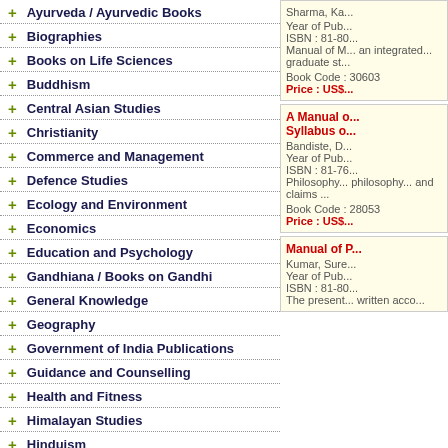+ Ayurveda / Ayurvedic Books
+ Biographies
+ Books on Life Sciences
+ Buddhism
+ Central Asian Studies
+ Christianity
+ Commerce and Management
+ Defence Studies
+ Ecology and Environment
+ Economics
+ Education and Psychology
+ Gandhiana / Books on Gandhi
+ General Knowledge
+ Geography
+ Government of India Publications
+ Guidance and Counselling
+ Health and Fitness
+ Himalayan Studies
+ Hinduism
+ History
+ Human Rights
+ Information Technology
Book Code : 30603 | Sharma, Ka... | Year of Pub... | ISBN : 81-80... | Manual of M... an integrated... graduate st... | Price : US$...
Book Code : 28053 | A Manual of Syllabus o... | Bandiste, D... | Year of Pub... | ISBN : 81-76... | Philosophy... philosophy.... and claims ... | Price : US$...
Kumar, Sure... | Manual of P... | Year of Pub... | ISBN : 81-80... | The present... written acco... | Price : US$...